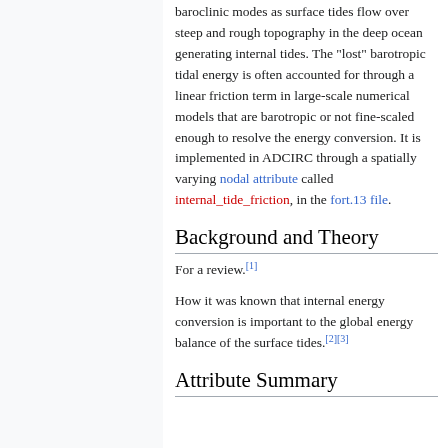baroclinic modes as surface tides flow over steep and rough topography in the deep ocean generating internal tides. The "lost" barotropic tidal energy is often accounted for through a linear friction term in large-scale numerical models that are barotropic or not fine-scaled enough to resolve the energy conversion. It is implemented in ADCIRC through a spatially varying nodal attribute called internal_tide_friction, in the fort.13 file.
Background and Theory
For a review.[1]
How it was known that internal energy conversion is important to the global energy balance of the surface tides.[2][3]
Attribute Summary